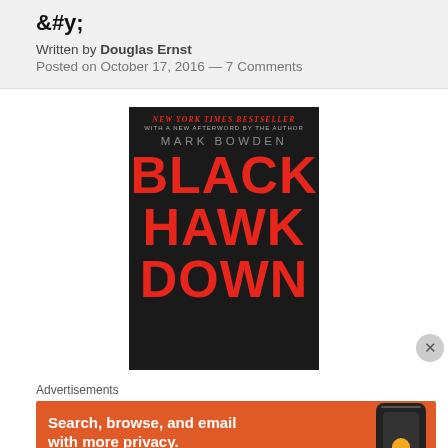Written by Douglas Ernst
Posted on October 17, 2016 — 7 Comments
[Figure (photo): Book cover of 'Black Hawk Down' by Mark Bowden. Dark background with large red bold text reading BLACK HAWK DOWN. Top text in red italic: NEW YORK TIMES BESTSELLER. Below: WITH A NEW AFTERWORD BY THE AUTHOR. Author name: MARK BOWDEN in gray.]
Advertisements
[Figure (screenshot): Orange advertisement banner reading 'Search, browse, and email with more privacy.' with a phone image on the right showing a duck logo app.]